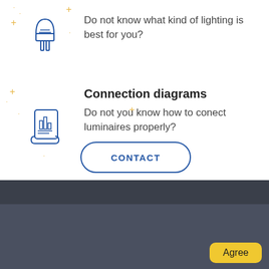[Figure (illustration): Blue line-art LED bulb icon with decorative gold plus/star decorations around it]
Do not know what kind of lighting is best for you?
[Figure (illustration): Blue line-art scroll/document with bar chart icon, with decorative gold plus/star decorations around it]
Connection diagrams
Do not you know how to conect luminaires properly?
CONTACT
MODUS
This site uses cookies to provide services, customize ads, and analyze traffic. By using this site you agree to this.
Agree